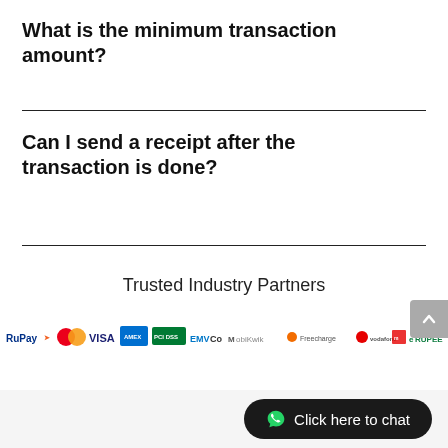What is the minimum transaction amount?
Can I send a receipt after the transaction is done?
Trusted Industry Partners
[Figure (logo): Row of payment partner logos: RuPay, Mastercard, VISA, American Express, PCI DSS, EMVCo, Mobikwik, Freecharge, Vodafone, m.paisa, eRUPEE]
Click here to chat